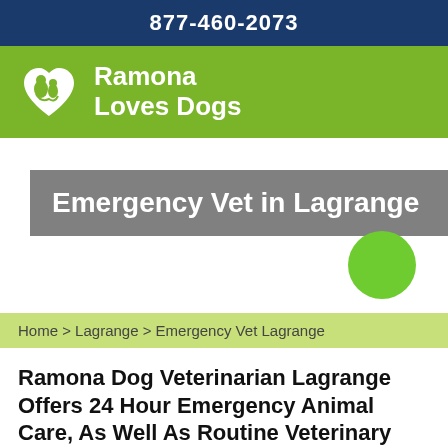877-460-2073
[Figure (logo): Ramona Loves Dogs logo with heart icon containing dog silhouette on green background]
Emergency Vet in Lagrange
Home > Lagrange > Emergency Vet Lagrange
Ramona Dog Veterinarian Lagrange Offers 24 Hour Emergency Animal Care, As Well As Routine Veterinary Services